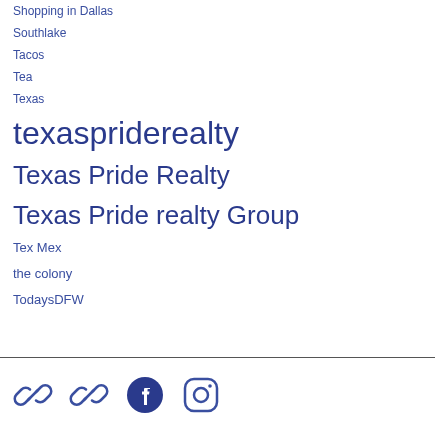Shopping in Dallas
Southlake
Tacos
Tea
Texas
texaspriderealty
Texas Pride Realty
Texas Pride realty Group
Tex Mex
the colony
TodaysDFW
[Figure (other): Social media and link icons: two chain/link icons, Facebook icon, Instagram icon]